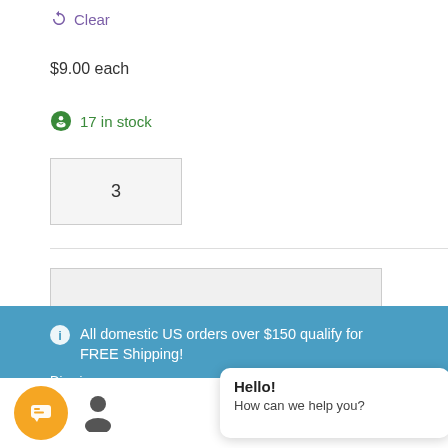Clear
$9.00 each
17 in stock
3
All domestic US orders over $150 qualify for FREE Shipping!
Dismiss
Hello!
How can we help you?